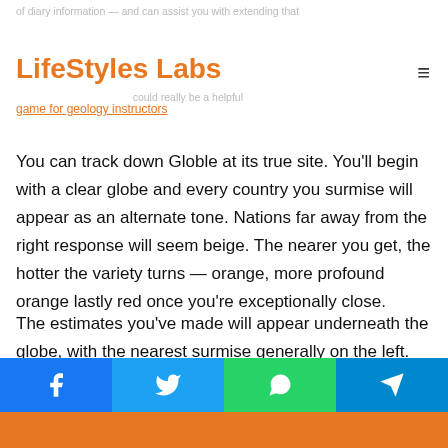LifeStyles Labs
You can track down Globle at its true site. You'll begin with a clear globe and every country you surmise will appear as an alternate tone. Nations far away from the right response will seem beige. The nearer you get, the hotter the variety turns — orange, more profound orange lastly red once you're exceptionally close.
The estimates you've made will appear underneath the globe, with the nearest surmise generally on the left. The objective is to figure the right country with as couple of surmises as could be expected. I found the present solution in fifteen speculations. For all intents and purposes, it is a genuinely